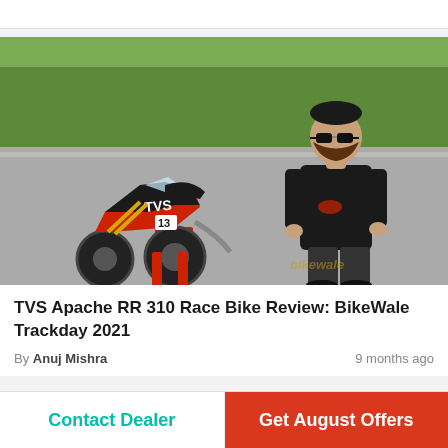[Figure (photo): TVS Apache RR 310 race bike on a track with a man in a black TVS t-shirt standing beside it. The bike has red, white, and black livery with number 13 on a race paddock stand. BikeWale watermark visible bottom right.]
TVS Apache RR 310 Race Bike Review: BikeWale Trackday 2021
By Anuj Mishra   9 months ago
Contact Dealer
Get August Offers